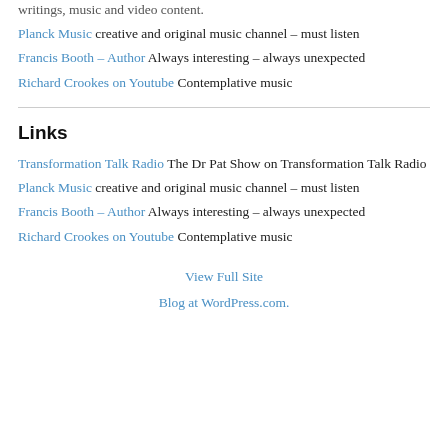writings, music and video content.
Planck Music creative and original music channel – must listen
Francis Booth – Author Always interesting – always unexpected
Richard Crookes on Youtube Contemplative music
Links
Transformation Talk Radio The Dr Pat Show on Transformation Talk Radio
Planck Music creative and original music channel – must listen
Francis Booth – Author Always interesting – always unexpected
Richard Crookes on Youtube Contemplative music
View Full Site
Blog at WordPress.com.